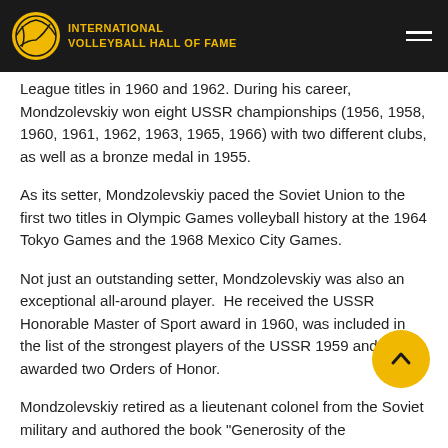INTERNATIONAL VOLLEYBALL HALL OF FAME
League titles in 1960 and 1962. During his career, Mondzolevskiy won eight USSR championships (1956, 1958, 1960, 1961, 1962, 1963, 1965, 1966) with two different clubs, as well as a bronze medal in 1955.
As its setter, Mondzolevskiy paced the Soviet Union to the first two titles in Olympic Games volleyball history at the 1964 Tokyo Games and the 1968 Mexico City Games.
Not just an outstanding setter, Mondzolevskiy was also an exceptional all-around player.  He received the USSR Honorable Master of Sport award in 1960, was included in the list of the strongest players of the USSR 1959 and was awarded two Orders of Honor.
Mondzolevskiy retired as a lieutenant colonel from the Soviet military and authored the book "Generosity of the